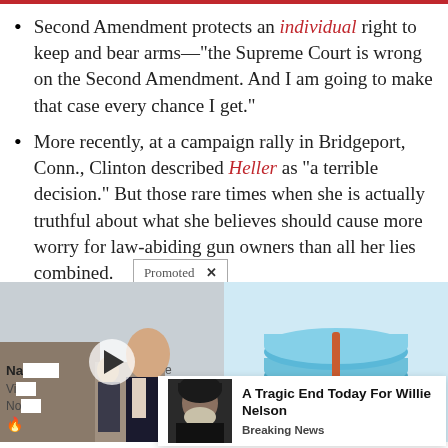Second Amendment protects an individual right to keep and bear arms—"the Supreme Court is wrong on the Second Amendment. And I am going to make that case every chance I get."
More recently, at a campaign rally in Bridgeport, Conn., Clinton described Heller as "a terrible decision." But those rare times when she is actually truthful about what she believes should cause more worry for law-abiding gun owners than all her lies combined.
At another campaign stop in Connectic...
[Figure (photo): Left: video thumbnail of a woman (Kamala Harris) at a campaign event with play button overlay. Right: blue rubber rings/bands product photo.]
Na... Vi... No...
A Tragic End Today For Willie Nelson
Breaking News